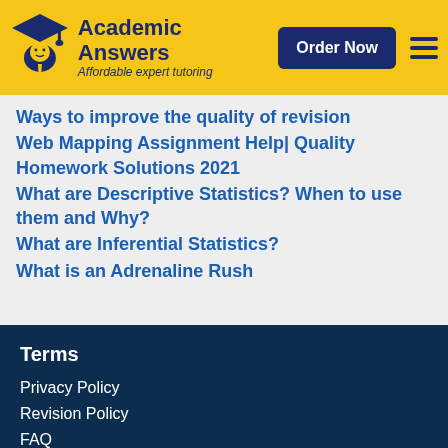Academic Answers — Affordable expert tutoring
Ways to improve the quality of revision
Web Mapping Assignment Help| Quality Homework Solutions 2021
What are Descriptive Statistics? When to use them and Why?
What are Inferential Statistics?
What is an Adrenaline Rush
Terms
Privacy Policy
Revision Policy
FAQ
Refund Policy
Samples
Terms and Conditions